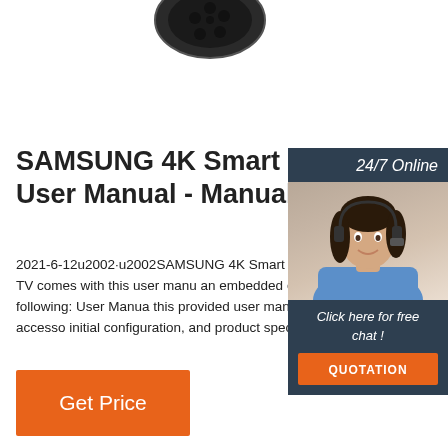[Figure (photo): Product image showing a circular connector or camera lens component, dark colored, viewed from front angle, partially cropped at top]
SAMSUNG 4K Smart QLED User Manual - Manuals+
2021-6-12u2002·u2002SAMSUNG 4K Smart QLED User Manual Before Reading This User ManualThis TV comes with this user manual and an embedded e-Manual. Before reading this manual, review the following: User Manual Use this provided user manual to see information about product safety, installation, accessories, initial configuration, and product specifications. e
...
[Figure (infographic): 24/7 Online support widget with photo of woman wearing headset and blue shirt, smiling. Dark navy background with '24/7 Online' text, 'Click here for free chat!' text, and orange QUOTATION button.]
Get Price